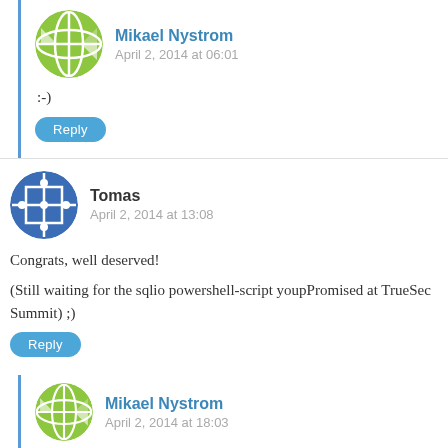Mikael Nystrom
April 2, 2014 at 06:01
:-)
Reply
Tomas
April 2, 2014 at 13:08
Congrats, well deserved!

(Still waiting for the sqlio powershell-script youpPromised at TrueSec Summit) ;)
Reply
Mikael Nystrom
April 2, 2014 at 18:03
Thanks, the PowerShell SQLIOS Script is now